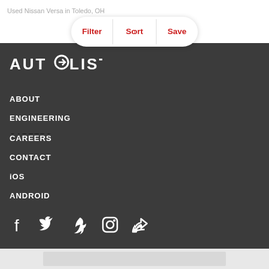Used Nissan Versa in Toledo, OH
[Figure (screenshot): Tab bar with Filter, Sort, Save buttons in a white pill/rounded rectangle]
[Figure (logo): AUTOLIST logo in white on dark background]
ABOUT
ENGINEERING
CAREERS
CONTACT
iOS
ANDROID
[Figure (infographic): Social media icons: Facebook, Twitter, Pinterest, Instagram, RSS]